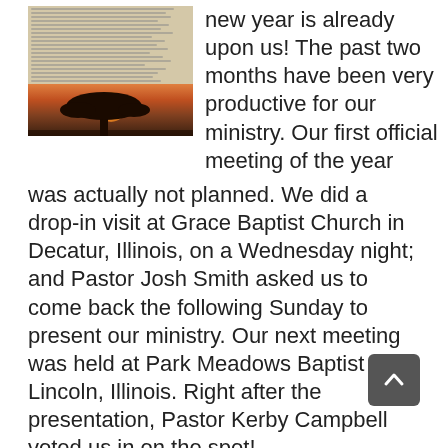[Figure (photo): A newspaper or newsletter document shown alongside a photograph of a tree silhouette against an orange sunset sky]
new year is already upon us! The past two months have been very productive for our ministry. Our first official meeting of the year was actually not planned. We did a drop-in visit at Grace Baptist Church in Decatur, Illinois, on a Wednesday night; and Pastor Josh Smith asked us to come back the following Sunday to present our ministry. Our next meeting was held at Park Meadows Baptist in Lincoln, Illinois. Right after the presentation, Pastor Kerby Campbell voted us in on the spot!
Thank you, Grace Baptist Church (Decatur, Illinois), Park Meadows Baptist Church (Lincoln, Illinois), and Desert Gateway Baptist Church (Gilbert, Arizona) for partnering on our ministry